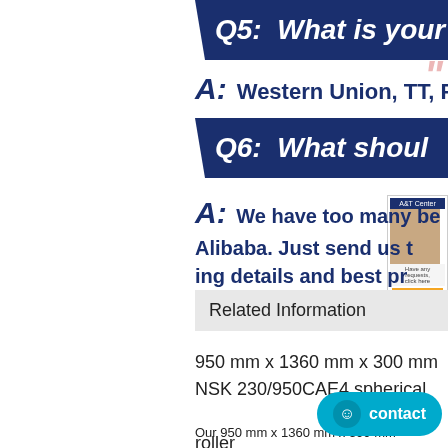Q5: What is your p
A: Western Union, TT, Pa
Q6: What shoul
A: We have too many be Alibaba. Just send us t ing details and best pr
Related Information
950 mm x 1360 mm x 300 mm
NSK 230/950CAE4 spherical roller
Our 950 mm x 1360 mm x 300 mm highly,skilled and Shand Industrial Development factory,trained service experts have the resources to help you with all your 950 m